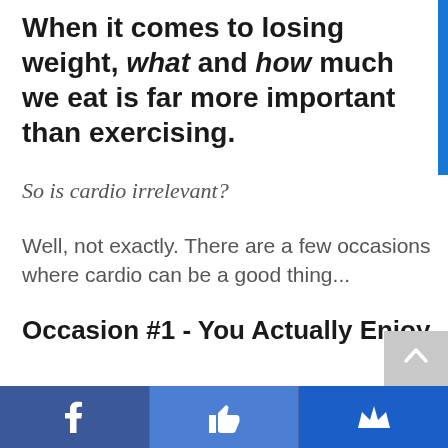When it comes to losing weight, what and how much we eat is far more important than exercising.
So is cardio irrelevant?
Well, not exactly. There are a few occasions where cardio can be a good thing...
Occasion #1 - You Actually Enjoy